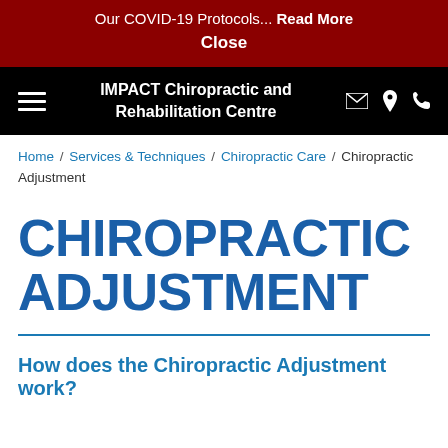Our COVID-19 Protocols... Read More
Close
IMPACT Chiropractic and Rehabilitation Centre
Home / Services & Techniques / Chiropractic Care / Chiropractic Adjustment
CHIROPRACTIC ADJUSTMENT
How does the Chiropractic Adjustment work?